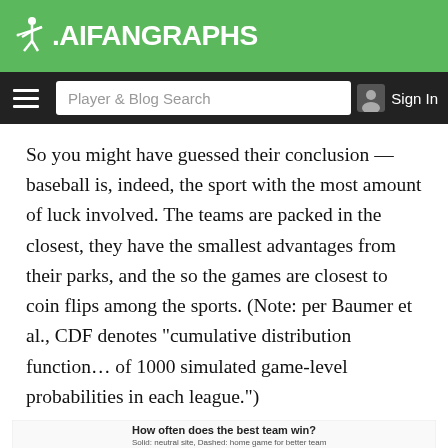FanGraphs
Player & Blog Search | Sign In
So you might have guessed their conclusion — baseball is, indeed, the sport with the most amount of luck involved. The teams are packed in the closest, they have the smallest advantages from their parks, and the so the games are closest to coin flips among the sports. (Note: per Baumer et al., CDF denotes "cumulative distribution function… of 1000 simulated game-level probabilities in each league.")
[Figure (continuous-plot): Line chart titled 'How often does the best team win?' with subtitle 'Solid: neutral site, Dashed: home game for better team'. Shows multiple colored curves (red, blue/teal, orange/yellow) rising from left to right. Y-axis starts at 1.00. Legend shows 'All games' and 'coin flips'. Vertical dashed line on right side of chart.]